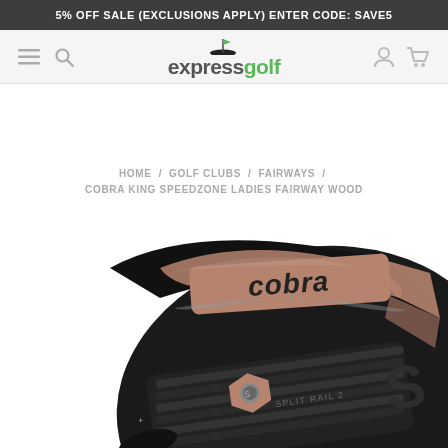5% OFF SALE (EXCLUSIONS APPLY) ENTER CODE: SAVE5
[Figure (logo): Express Golf logo with hamburger menu, search icon, user icon, and cart icon in navigation bar]
HOME / GOLF CLUBS / FAIRWAYS / COBRA KING SPEEDZONE LADIES FAIRWAY WOOD
[Figure (photo): Cobra King SpeedZone Ladies Fairway Wood club head, black with rose gold accents, showing the 'cobra' branding, SPEEDZONE text on the side, and SPLIT RAIL 2 text on the face, with a hexagonal weight screw]